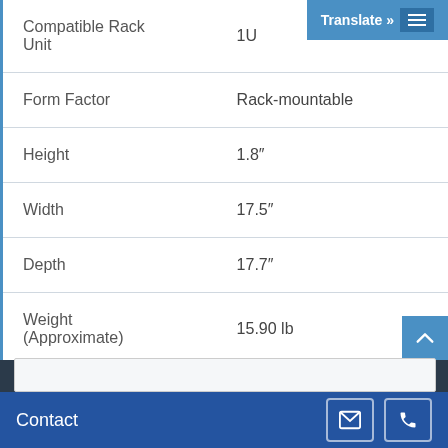| Specification | Value |
| --- | --- |
| Compatible Rack Unit | 1U |
| Form Factor | Rack-mountable |
| Height | 1.8″ |
| Width | 17.5″ |
| Depth | 17.7″ |
| Weight (Approximate) | 15.90 lb |
| Miscellaneous |  |
Contact